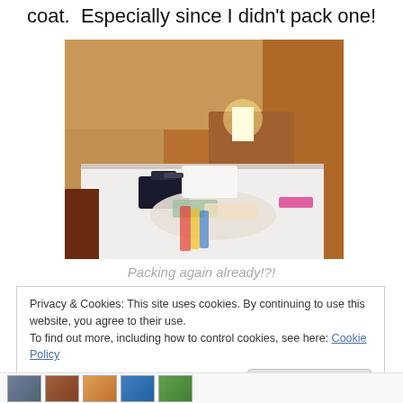coat.  Especially since I didn't pack one!
[Figure (photo): Hotel room with a bed covered in clothes and luggage, warm orange/brown walls, a lit bedside lamp, and various items spread across the white bedding.]
Packing again already!?!
Privacy & Cookies: This site uses cookies. By continuing to use this website, you agree to their use.
To find out more, including how to control cookies, see here: Cookie Policy
Close and accept